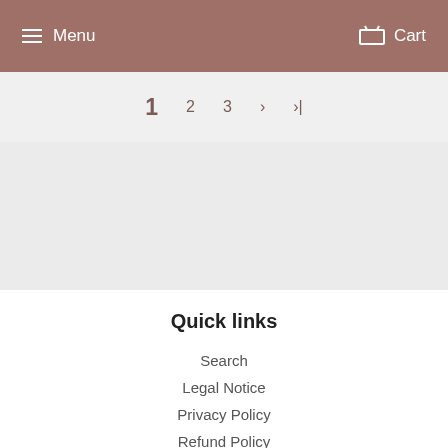Menu   Cart
1  2  3  ›  ›|
Quick links
Search
Legal Notice
Privacy Policy
Refund Policy
Shipping Policy
Terms of Service
FAQs